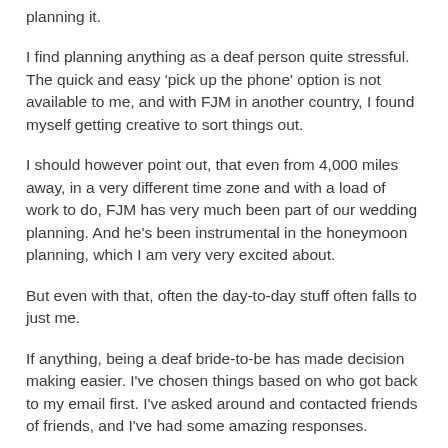planning it.
I find planning anything as a deaf person quite stressful. The quick and easy 'pick up the phone' option is not available to me, and with FJM in another country, I found myself getting creative to sort things out.
I should however point out, that even from 4,000 miles away, in a very different time zone and with a load of work to do, FJM has very much been part of our wedding planning. And he's been instrumental in the honeymoon planning, which I am very very excited about.
But even with that, often the day-to-day stuff often falls to just me.
If anything, being a deaf bride-to-be has made decision making easier. I've chosen things based on who got back to my email first. I've asked around and contacted friends of friends, and I've had some amazing responses.
When I used the NGT type talk app to call my insurance